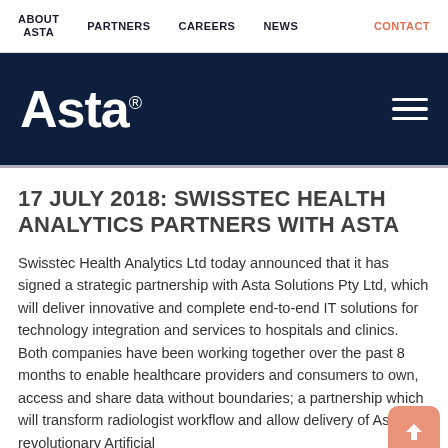ABOUT ASTA  PARTNERS  CAREERS  NEWS  CONTACT
[Figure (logo): Asta logo in white on dark navy background with hamburger menu icon]
17 JULY 2018: SWISSTEC HEALTH ANALYTICS PARTNERS WITH ASTA
Swisstec Health Analytics Ltd today announced that it has signed a strategic partnership with Asta Solutions Pty Ltd, which will deliver innovative and complete end-to-end IT solutions for technology integration and services to hospitals and clinics. Both companies have been working together over the past 8 months to enable healthcare providers and consumers to own, access and share data without boundaries; a partnership which will transform radiologist workflow and allow delivery of Asta's revolutionary Artificial intelligence platform to the healthcare industry.